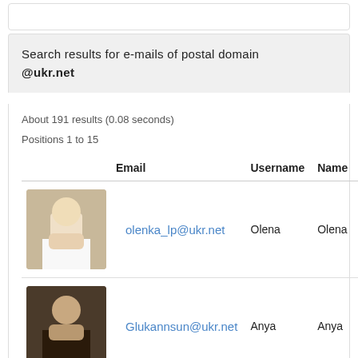Search results for e-mails of postal domain @ukr.net
About 191 results (0.08 seconds)
Positions 1 to 15
|  | Email | Username | Name |
| --- | --- | --- | --- |
| [photo] | olenka_lp@ukr.net | Olena | Olena |
| [photo] | Glukannsun@ukr.net | Anya | Anya |
| [photo] | kisusha2004@ukr.net | Oksana | XXXXX |
| [photo] |  |  |  |